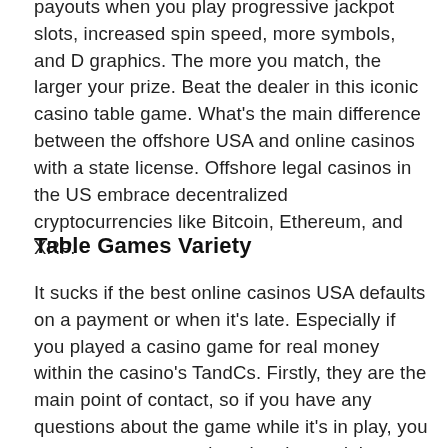payouts when you play progressive jackpot slots, increased spin speed, more symbols, and D graphics. The more you match, the larger your prize. Beat the dealer in this iconic casino table game. What's the main difference between the offshore USA and online casinos with a state license. Offshore legal casinos in the US embrace decentralized cryptocurrencies like Bitcoin, Ethereum, and XRP.
Table Games Variety
It sucks if the best online casinos USA defaults on a payment or when it's late. Especially if you played a casino game for real money within the casino's TandCs. Firstly, they are the main point of contact, so if you have any questions about the game while it's in play, you can type a message into the chat and the dealer will respond verbally. They will also take part in live discussions